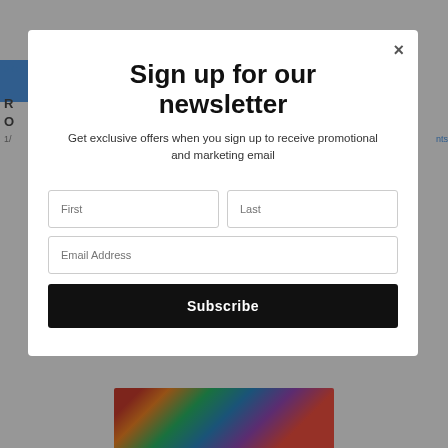Sign up for our newsletter
Get exclusive offers when you sign up to receive promotional and marketing email
First
Last
Email Address
Subscribe